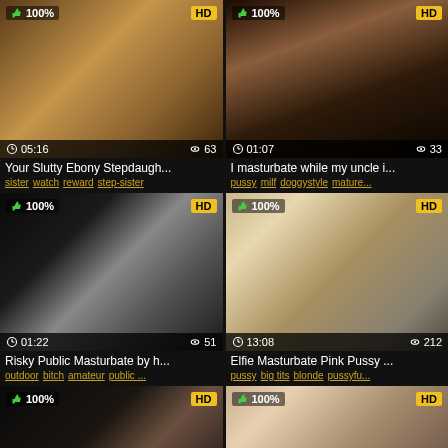[Figure (screenshot): Video thumbnail grid showing 6 adult video cards, each with HD badge, like percentage, duration, view count, title, and tags]
Your Slutty Ebony Stepdaugh...
sister watch reward step-sister
I masturbate while my uncle i...
pussy milf doggystyle mature...
Risky Public Masturbate by h...
outdoor bitch amateur public ...
Elfie Masturbate Pink Pussy ...
pussy big tits blonde pussyfu...